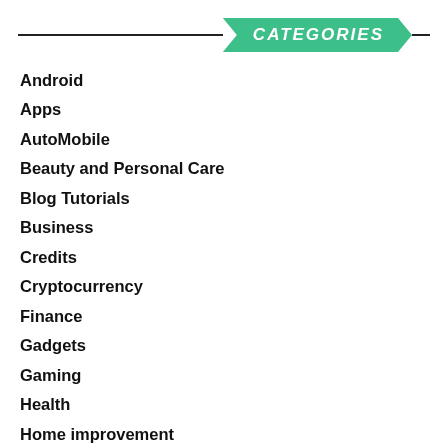CATEGORIES
Android
Apps
AutoMobile
Beauty and Personal Care
Blog Tutorials
Business
Credits
Cryptocurrency
Finance
Gadgets
Gaming
Health
Home improvement
How-To
Internet
iOS
iPhone